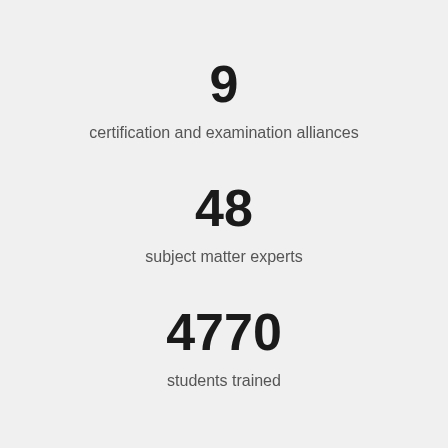9
certification and examination alliances
48
subject matter experts
4770
students trained